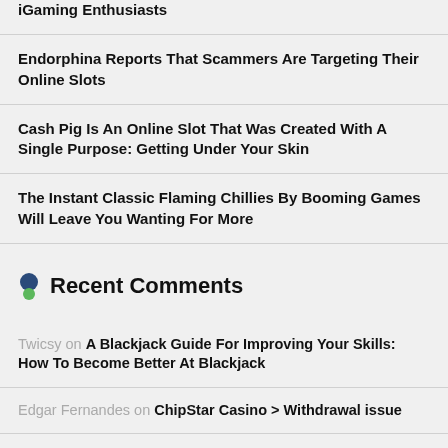iGaming Enthusiasts
Endorphina Reports That Scammers Are Targeting Their Online Slots
Cash Pig Is An Online Slot That Was Created With A Single Purpose: Getting Under Your Skin
The Instant Classic Flaming Chillies By Booming Games Will Leave You Wanting For More
Recent Comments
Twicsy on A Blackjack Guide For Improving Your Skills: How To Become Better At Blackjack
Edgar Fernandes on ChipStar Casino > Withdrawal issue
Bojan on ChipStar Casino > Withdrawal issue